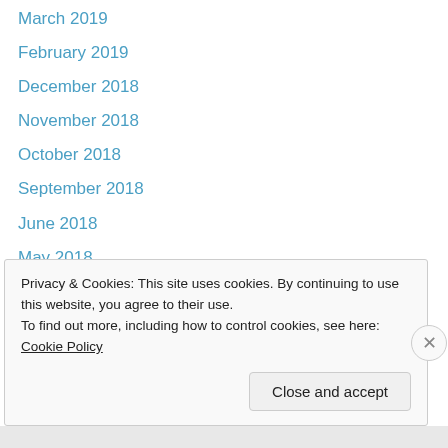March 2019
February 2019
December 2018
November 2018
October 2018
September 2018
June 2018
May 2018
April 2018
March 2018
February 2018
December 2017
October 2017
Privacy & Cookies: This site uses cookies. By continuing to use this website, you agree to their use. To find out more, including how to control cookies, see here: Cookie Policy